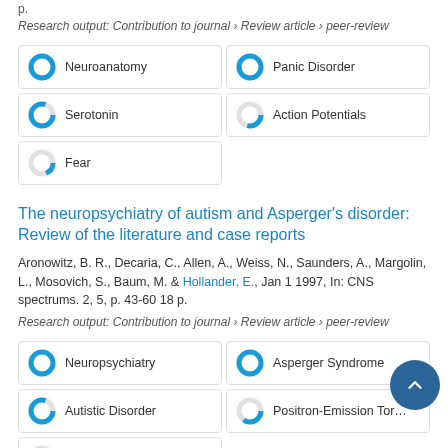p.
Research output: Contribution to journal › Review article › peer-review
Neuroanatomy
Panic Disorder
Serotonin
Action Potentials
Fear
The neuropsychiatry of autism and Asperger's disorder: Review of the literature and case reports
Aronowitz, B. R., Decaria, C., Allen, A., Weiss, N., Saunders, A., Margolin, L., Mosovich, S., Baum, M. & Hollander, E., Jan 1 1997, In: CNS spectrums. 2, 5, p. 43-60 18 p.
Research output: Contribution to journal › Review article › peer-review
Neuropsychiatry
Asperger Syndrome
Autistic Disorder
Positron-Emission Tomography
Neuroimaging